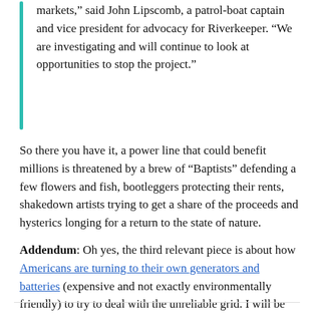markets," said John Lipscomb, a patrol-boat captain and vice president for advocacy for Riverkeeper. "We are investigating and will continue to look at opportunities to stop the project."
So there you have it, a power line that could benefit millions is threatened by a brew of "Baptists" defending a few flowers and fish, bootleggers protecting their rents, shakedown artists trying to get a share of the proceeds and hysterics longing for a return to the state of nature.
Addendum: Oh yes, the third relevant piece is about how Americans are turning to their own generators and batteries (expensive and not exactly environmentally friendly) to try to deal with the unreliable grid. I will be getting one of these systems for my own home, which also came up in the podcast with Klein.
153 Comments